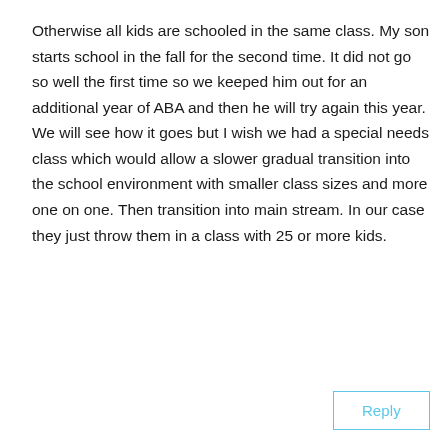Otherwise all kids are schooled in the same class. My son starts school in the fall for the second time. It did not go so well the first time so we keeped him out for an additional year of ABA and then he will try again this year. We will see how it goes but I wish we had a special needs class which would allow a slower gradual transition into the school environment with smaller class sizes and more one on one. Then transition into main stream. In our case they just throw them in a class with 25 or more kids.